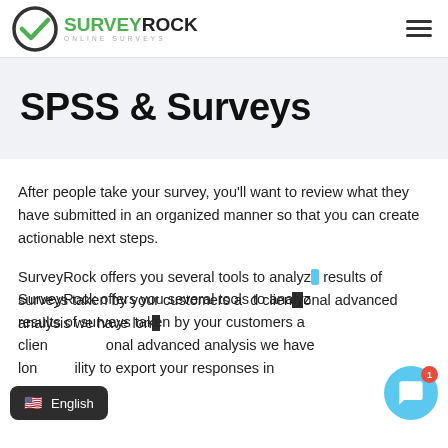SurveyRock Online Surveys
SPSS & Surveys
After people take your survey, you'll want to review what they have submitted in an organized manner so that you can create actionable next steps.
SurveyRock offers you several tools to analyze results of surveys taken by your customers and clients. For additional advanced analysis we have long had the ability to export your responses in